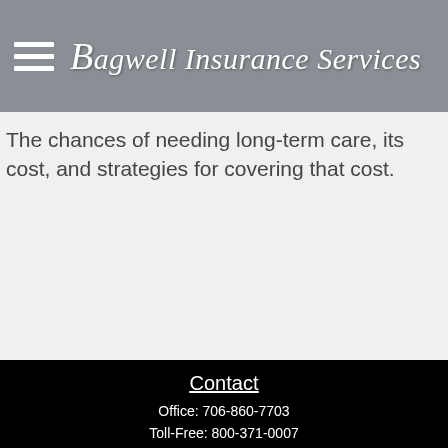Bagwell Insurance Services
The chances of needing long-term care, its cost, and strategies for covering that cost.
Contact
Office: 706-860-7703
Toll-Free: 800-371-0007
108 Davis Road
Martinez, GA 30907
dbagwell@bagwellins.com
[Figure (logo): Facebook logo icon button (blue square with white 'f')]
Quick Links
Retirement
Investment
Estate